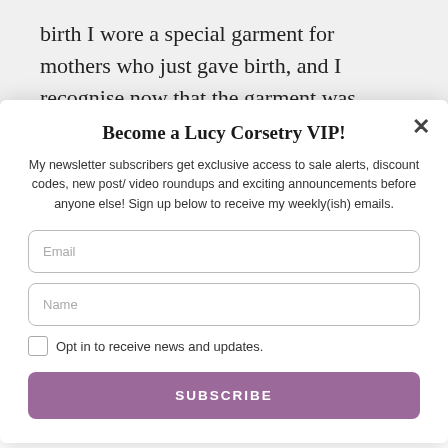birth I wore a special garment for mothers who just gave birth, and I recognise now that the garment was basically a corset that you put on like a pair of knickers (some
Become a Lucy Corsetry VIP!
My newsletter subscribers get exclusive access to sale alerts, discount codes, new post/ video roundups and exciting announcements before anyone else! Sign up below to receive my weekly(ish) emails.
Email
Name
Opt in to receive news and updates.
SUBSCRIBE